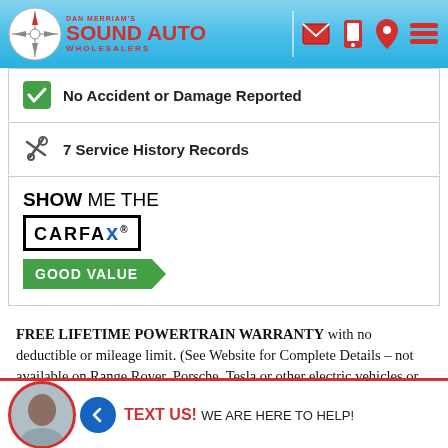Dan Merriam's Sound Auto Wholesalers
No Accident or Damage Reported
7 Service History Records
[Figure (logo): SHOW ME THE CARFAX logo with GOOD VALUE badge]
FREE LIFETIME POWERTRAIN WARRANTY with no deductible or mileage limit. (See Website for Complete Details – not available on Range Rover, Porsche, Tesla or other electric vehicles or vehicles with over 100,000 miles at time of sale.). We are A PLUS RATED by the Better Business Bureau – HIGHEST RATING POSSIBLE. Every vehicle is VA... CK ON... W WE... HAN
TEXT US! WE ARE HERE TO HELP!